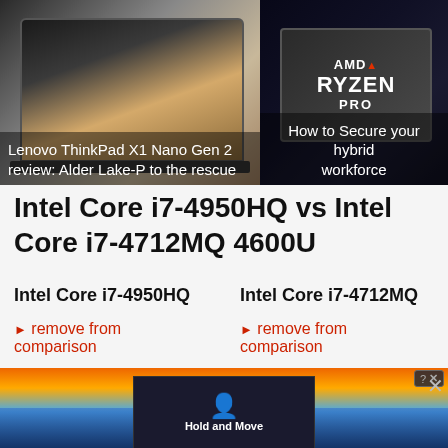[Figure (photo): Lenovo ThinkPad X1 Nano Gen 2 laptop open showing a cheetah on screen, dark background]
Lenovo ThinkPad X1 Nano Gen 2 review: Alder Lake-P to the rescue
[Figure (photo): AMD Ryzen Pro processor chip on circuit board background]
How to Secure your hybrid workforce
Intel Core i7-4950HQ vs Intel Core i7-4712MQ 4600U
Intel Core i7-4950HQ
remove from comparison
Intel Core i7-4712MQ
remove from comparison
[Figure (screenshot): Heat map thermal images and an ad overlay showing Hold and Move app with person icon, with close button]